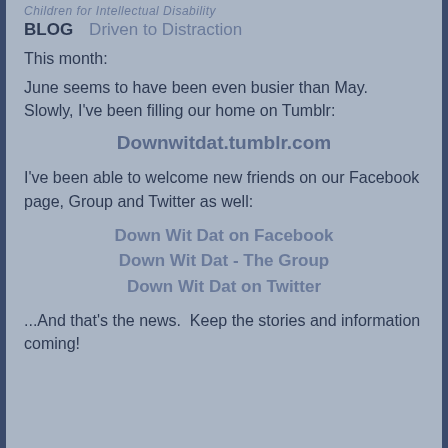Children for Intellectual Disability
BLOG   Driven to Distraction
This month:
June seems to have been even busier than May.  Slowly, I've been filling our home on Tumblr:
Downwitdat.tumblr.com
I've been able to welcome new friends on our Facebook page, Group and Twitter as well:
Down Wit Dat on Facebook
Down Wit Dat - The Group
Down Wit Dat on Twitter
...And that's the news.  Keep the stories and information coming!